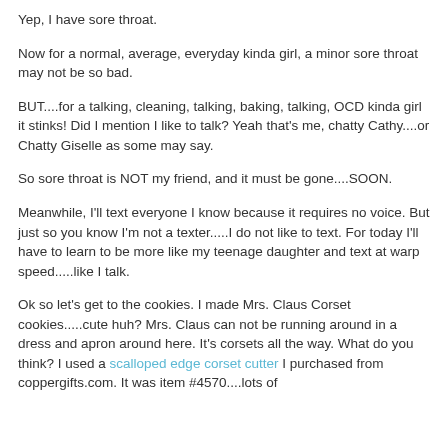Yep, I have sore throat.
Now for a normal, average, everyday kinda girl, a minor sore throat may not be so bad.
BUT....for a talking, cleaning, talking, baking, talking, OCD kinda girl it stinks! Did I mention I like to talk? Yeah that's me, chatty Cathy....or Chatty Giselle as some may say.
So sore throat is NOT my friend, and it must be gone....SOON.
Meanwhile, I'll text everyone I know because it requires no voice. But just so you know I'm not a texter.....I do not like to text. For today I'll have to learn to be more like my teenage daughter and text at warp speed.....like I talk.
Ok so let's get to the cookies. I made Mrs. Claus Corset cookies.....cute huh? Mrs. Claus can not be running around in a dress and apron around here. It's corsets all the way. What do you think? I used a scalloped edge corset cutter I purchased from coppergifts.com. It was item #4570....lots of